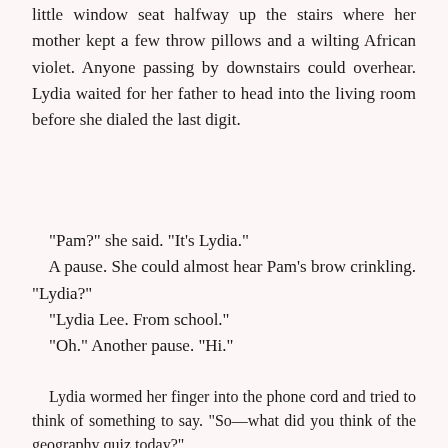little window seat halfway up the stairs where her mother kept a few throw pillows and a wilting African violet. Anyone passing by downstairs could overhear. Lydia waited for her father to head into the living room before she dialed the last digit.
“Pam?” she said. “It’s Lydia.”
    A pause. She could almost hear Pam’s brow crinkling. “Lydia?”
    “Lydia Lee. From school.”
    “Oh.” Another pause. “Hi.”
Lydia wormed her finger into the phone cord and tried to think of something to say. “So—what did you think of the geography quiz today?”
“It was okay, I guess.” Pam snapped her gum, a tiny tsk of a sound. “I hate school.”
“Me too,” Lydia said. For the first time, she realiz…
[Figure (other): Advertisement banner for Wegmans Easy Back to School Snacking with logo, text, and directional arrow button]